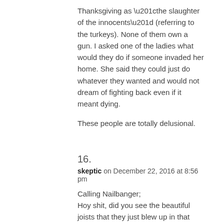Thanksgiving as “the slaughter of the innocents” (referring to the turkeys). None of them own a gun. I asked one of the ladies what would they do if someone invaded her home. She said they could just do whatever they wanted and would not dream of fighting back even if it meant dying.
These people are totally delusional.
16.
skeptic on December 22, 2016 at 8:56 pm
Calling Nailbanger;
Hoy shit, did you see the beautiful joists that they just blew up in that tannerite film? Looked to be actual 2by’s. Someone with half a brain could have built a home from what they wasted.